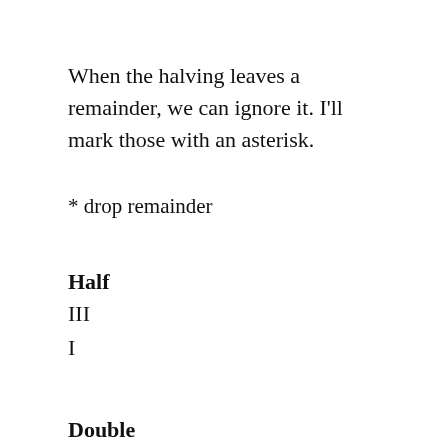When the halving leaves a remainder, we can ignore it. I'll mark those with an asterisk.
* drop remainder
Half
III
I
Double
VIII